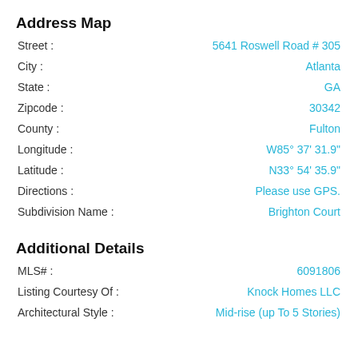Address Map
| Field | Value |
| --- | --- |
| Street : | 5641 Roswell Road # 305 |
| City : | Atlanta |
| State : | GA |
| Zipcode : | 30342 |
| County : | Fulton |
| Longitude : | W85° 37' 31.9" |
| Latitude : | N33° 54' 35.9" |
| Directions : | Please use GPS. |
| Subdivision Name : | Brighton Court |
Additional Details
| Field | Value |
| --- | --- |
| MLS# : | 6091806 |
| Listing Courtesy Of : | Knock Homes LLC |
| Architectural Style : | Mid-rise (up To 5 Stories) |